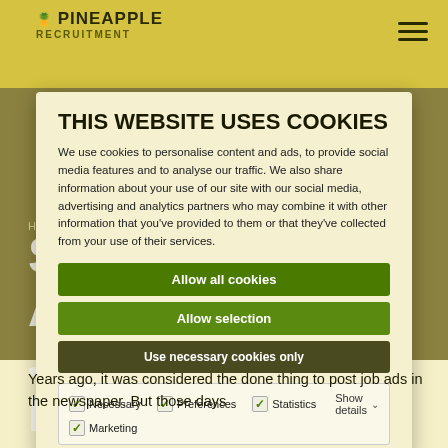PINEAPPLE RECRUITMENT
THIS WEBSITE USES COOKIES
We use cookies to personalise content and ads, to provide social media features and to analyse our traffic. We also share information about your use of our site with our social media, advertising and analytics partners who may combine it with other information that you've provided to them or that they've collected from your use of their services.
Allow all cookies
Allow selection
Use necessary cookies only
Necessary  Preferences  Statistics  Marketing  Show details
SHOULD YOU ADVERTISE JOBS IN THE LOCAL PAPER?
Years ago, it was considered the done thing to post job ads in the newspaper. But those days